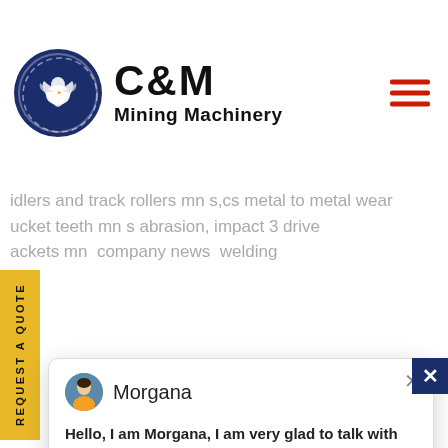[Figure (logo): C&M Mining Machinery logo with eagle emblem in dark blue circle and company name]
idlers and track rollers mn s,cs metal to metal wear
ucket teeth mn s abrasion, impact 3 drive
ackets mn  company news  welding
[Figure (screenshot): Chat popup with avatar of Morgana operator, name Morgana, message: Hello, I am Morgana, I am very glad to talk with you!]
[Figure (photo): Mobile crushing station truck/machine in industrial setting]
[Figure (photo): Customer service representative with headset, teal chat notification circle with number 1]
Click to Chat
Enquiry